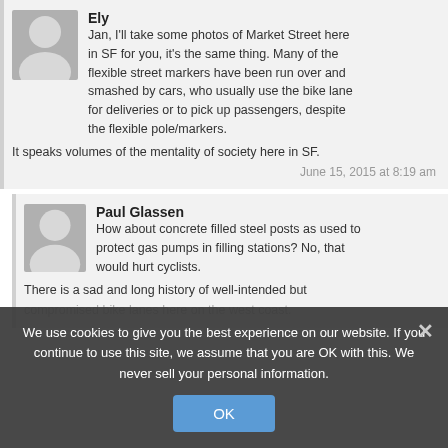Ely
Jan, I'll take some photos of Market Street here in SF for you, it's the same thing. Many of the flexible street markers have been run over and smashed by cars, who usually use the bike lane for deliveries or to pick up passengers, despite the flexible pole/markers. It speaks volumes of the mentality of society here in SF.
June 15, 2015 at 8:19 am
Paul Glassen
How about concrete filled steel posts as used to protect gas pumps in filling stations? No, that would hurt cyclists.
There is a sad and long history of well-intended but compromised bike lanes here on the west coast. I'll mention one example — our lovely Seaside Bike Path that runs parallel to the ocean and the lane. BUT the lane was full of beach goers, but parked cars with their doors open so their sound systems could be cranked up for the 'enjoyment' of beach users. I was
We use cookies to give you the best experience on our website. If you continue to use this site, we assume that you are OK with this. We never sell your personal information.
OK